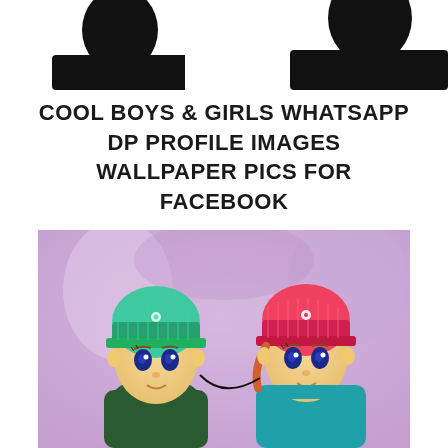[Figure (photo): Black silhouette header image showing two person silhouettes against a white background, cropped at the top of the page]
COOL BOYS & GIRLS WHATSAPP DP PROFILE IMAGES WALLPAPER PICS FOR FACEBOOK
[Figure (photo): Two cute anime-style dolls wearing knitted beanies — one with a teal/green hat and one with a pink/red hat — photographed against a soft purple blurred background]